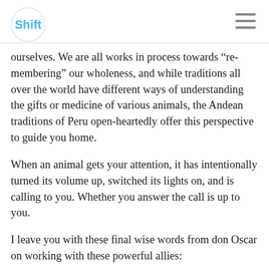Shift
ourselves. We are all works in process towards "re-membering" our wholeness, and while traditions all over the world have different ways of understanding the gifts or medicine of various animals, the Andean traditions of Peru open-heartedly offer this perspective to guide you home.
When an animal gets your attention, it has intentionally turned its volume up, switched its lights on, and is calling to you. Whether you answer the call is up to you.
I leave you with these final wise words from don Oscar on working with these powerful allies:
“The key is to dream like a child, living the magical bond between yourself and these sacred animal relations